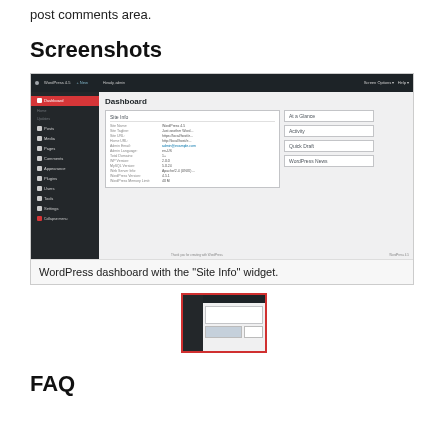post comments area.
Screenshots
[Figure (screenshot): WordPress dashboard with the Site Info widget showing site name, tagline, URL, home URL, admin email, admin language, total domains, WP version, MySQL version, web server info, WordPress version, and WordPress memory limit.]
WordPress dashboard with the "Site Info" widget.
[Figure (screenshot): Thumbnail of the WordPress dashboard screenshot.]
FAQ